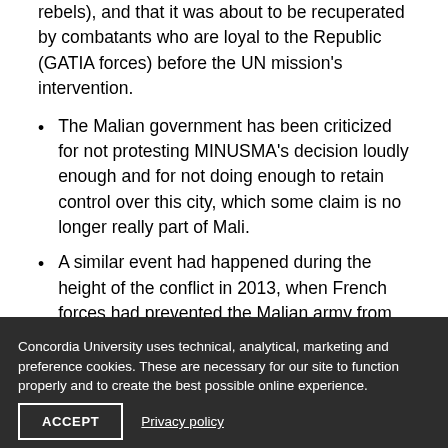rebels), and that it was about to be recuperated by combatants who are loyal to the Republic (GATIA forces) before the UN mission's intervention.
The Malian government has been criticized for not protesting MINUSMA's decision loudly enough and for not doing enough to retain control over this city, which some claim is no longer really part of Mali.
A similar event had happened during the height of the conflict in 2013, when French forces had prevented the Malian army from entering the city. Both decisions have
Concordia University uses technical, analytical, marketing and preference cookies. These are necessary for our site to function properly and to create the best possible online experience.
ACCEPT
Privacy policy